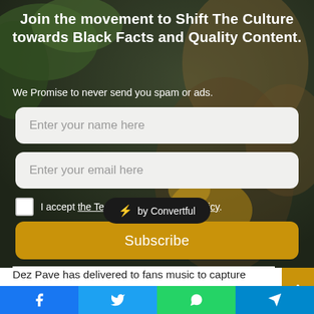Join the movement to Shift The Culture towards Black Facts and Quality Content.
We Promise to never send you spam or ads.
Enter your name here
Enter your email here
I accept the Terms and the Privacy Policy.
Subscribe
[Figure (screenshot): Convertful badge overlay: lightning bolt icon followed by 'by Convertful' text on dark rounded pill background]
Dez Pave has delivered to fans music to capture every aspect of their lives [partially obscured] le."
Dez Pave has made New York proud, and it's only the beginning. Dez Pave aims to overthrow the ones at the top stopping the dreams of artists deserving a shot. His
Facebook | Twitter | WhatsApp | Telegram